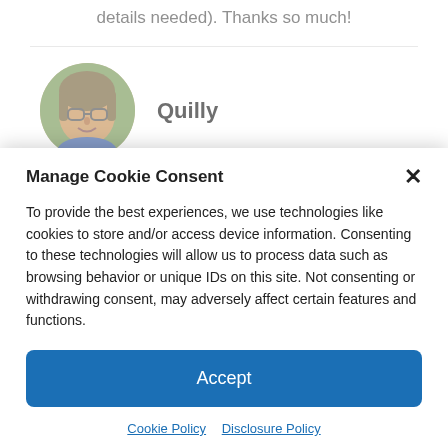details needed). Thanks so much!
Quilly
MAY 26, 2010 AT 11:37 PM
Manage Cookie Consent
To provide the best experiences, we use technologies like cookies to store and/or access device information. Consenting to these technologies will allow us to process data such as browsing behavior or unique IDs on this site. Not consenting or withdrawing consent, may adversely affect certain features and functions.
Accept
Cookie Policy  Disclosure Policy